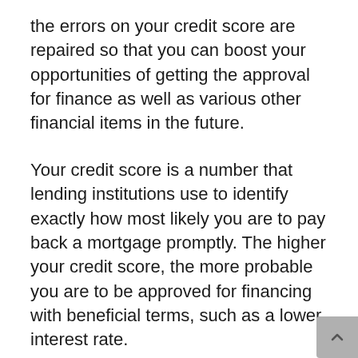the errors on your credit score are repaired so that you can boost your opportunities of getting the approval for finance as well as various other financial items in the future.
Your credit score is a number that lending institutions use to identify exactly how most likely you are to pay back a mortgage promptly. The higher your credit score, the more probable you are to be approved for financing with beneficial terms, such as a lower interest rate.
Nonetheless, if you have a bad credit score, you may be rejected for a car loan or offered one with higher rate of interest and also bank